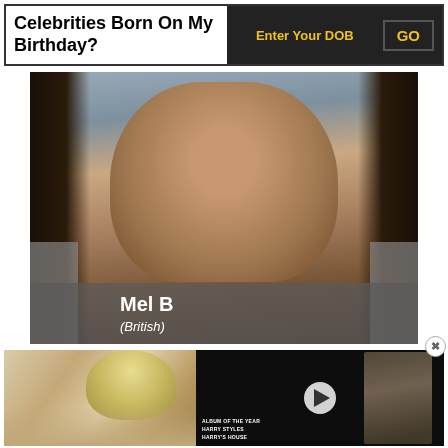Celebrities Born On My Birthday?
Enter Your DOB
GO
[Figure (photo): Portrait photo of Mel B (British), a woman with long dark hair and hoop earrings, with name overlay]
Mel B
(British)
[Figure (photo): Thumbnail photo of a person with blonde hair]
[Figure (screenshot): Video player thumbnail showing a person holding a trophy, with play button. Text reads: ALBUM OF THE YEAR HARRY STYLES HARRY'S HOUSE]